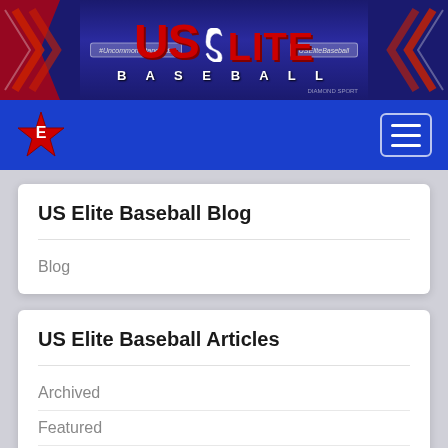[Figure (screenshot): US Elite Baseball website banner with logo, red and blue diagonal decorations, and navigation links]
[Figure (screenshot): Blue navigation bar with US Elite Baseball star logo on left and hamburger menu icon on right]
US Elite Baseball Blog
Blog
US Elite Baseball Articles
Archived
Featured
News